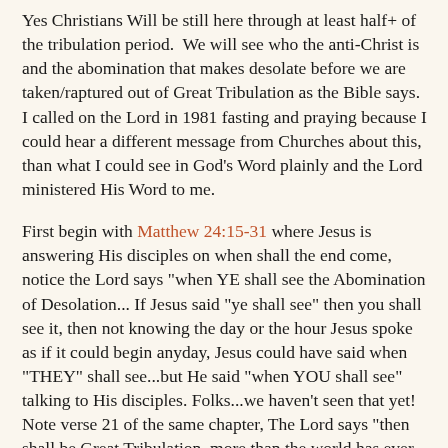Yes Christians Will be still here through at least half+ of the tribulation period.  We will see who the anti-Christ is and the abomination that makes desolate before we are taken/raptured out of Great Tribulation as the Bible says. I called on the Lord in 1981 fasting and praying because I could hear a different message from Churches about this, than what I could see in God's Word plainly and the Lord ministered His Word to me.
First begin with Matthew 24:15-31 where Jesus is answering His disciples on when shall the end come, notice the Lord says "when YE shall see the Abomination of Desolation... If Jesus said "ye shall see" then you shall see it, then not knowing the day or the hour Jesus spoke as if it could begin anyday, Jesus could have said when "THEY" shall see...but He said "when YOU shall see" talking to His disciples. Folks...we haven't seen that yet! Note verse 21 of the same chapter, The Lord says "then shall be Great Tribulation  more than the world has ever